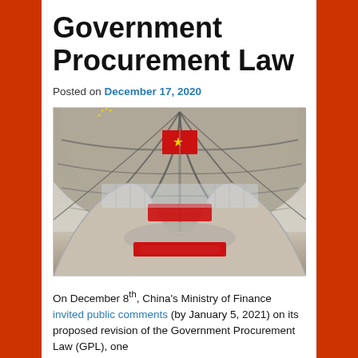Government Procurement Law
Posted on December 17, 2020
[Figure (photo): Interior of a large modern airport terminal with a sweeping vaulted ceiling structure and a large Chinese national flag hanging from the ceiling. Below is a grand circular hall with decorative signage.]
On December 8th, China's Ministry of Finance invited public comments (by January 5, 2021) on its proposed revision of the Government Procurement Law (GPL), one